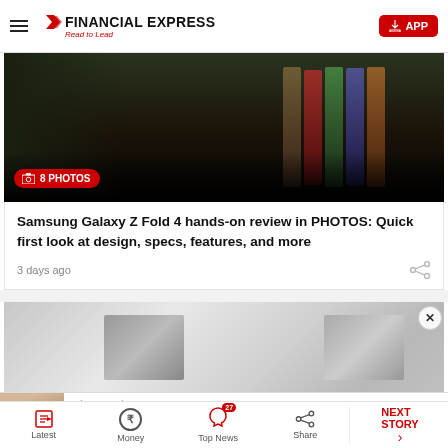Financial Express — Read to Lead | APP
[Figure (photo): Samsung Galaxy Z Fold 4 phone image with '8 PHOTOS' badge overlay]
Samsung Galaxy Z Fold 4 hands-on review in PHOTOS: Quick first look at design, specs, features, and more
3 days ago
[Figure (photo): Blurred furniture/home decor image preview for next article]
[Figure (screenshot): Yahoo Search advertisement: Best New Window Deals — Open button]
Latest | Money | Top News (27) | Share | NEXT STORY